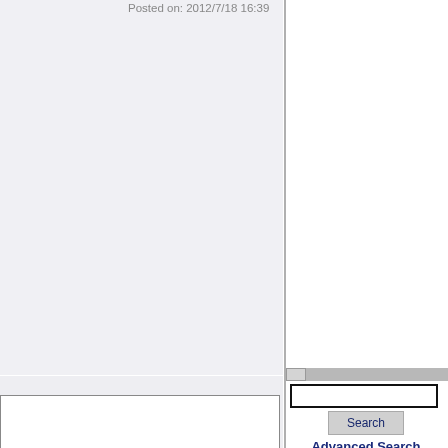Posted on: 2012/7/18 16:39
#256
player?
Search
Advanced Search